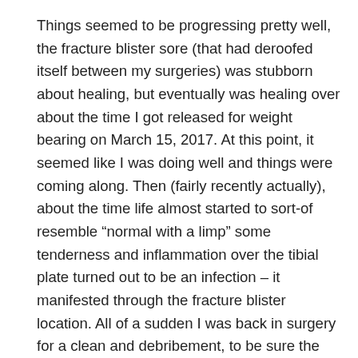Things seemed to be progressing pretty well, the fracture blister sore (that had deroofed itself between my surgeries) was stubborn about healing, but eventually was healing over about the time I got released for weight bearing on March 15, 2017. At this point, it seemed like I was doing well and things were coming along. Then (fairly recently actually), about the time life almost started to sort-of resemble “normal with a limp” some tenderness and inflammation over the tibial plate turned out to be an infection – it manifested through the fracture blister location. All of a sudden I was back in surgery for a clean and debribement, to be sure the bone wasn’t involved, and labs. This was April 20, 2017. I’m now facing down 6 weeks of IV antibiotics